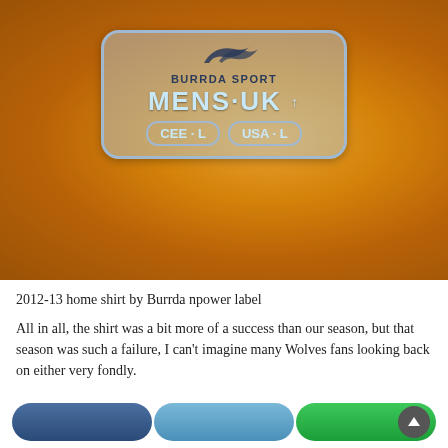[Figure (photo): Close-up photo of an orange Burrda Sport football shirt label showing MENS-UK size with CEE-L and USA-L sub-labels on a textured orange fabric background]
2012-13 home shirt by Burrda npower label
All in all, the shirt was a bit more of a success than our season, but that season was such a failure, I can't imagine many Wolves fans looking back on either very fondly.